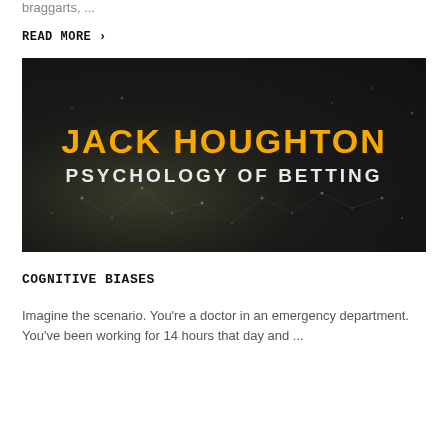braggarts, ...
READ MORE »
[Figure (illustration): Dark background book cover image with glowing network/dot pattern. Text in center reads 'JACK HOUGHTON' in bold yellow lettering and 'PSYCHOLOGY OF BETTING' in bold white lettering below.]
COGNITIVE BIASES
Imagine the scenario. You're a doctor in an emergency department. You've been working for 14 hours that day and ...